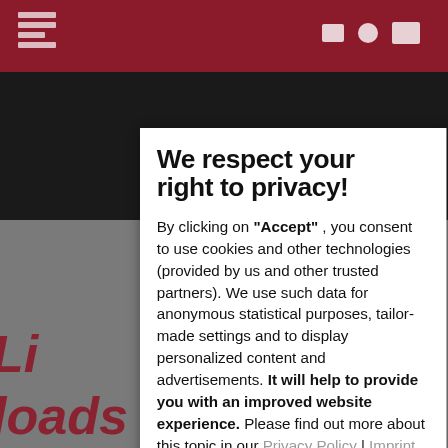[Figure (screenshot): Website background with dark red top navigation bar, black area below it, and blurred gray background with partially visible red italic text 'Li... loads of nature']
We respect your right to privacy!
By clicking on "Accept", you consent to use cookies and other technologies (provided by us and other trusted partners). We use such data for anonymous statistical purposes, tailor-made settings and to display personalized content and advertisements. It will help to provide you with an improved website experience. Please find out more about this topic in our Privacy Policy | Imprint
Cookie settings
Accept